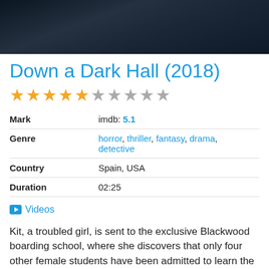[Figure (photo): Dark movie scene showing figures in a dimly lit environment]
Down a Dark Hall (2018)
[Figure (other): Star rating: 5 filled stars, 1 empty star, 4 empty stars (5 out of 10)]
| Mark | imdb: 5.1 |
| Genre | horror, thriller, fantasy, drama, detective |
| Country | Spain, USA |
| Duration | 02:25 |
Videos
Kit, a troubled girl, is sent to the exclusive Blackwood boarding school, where she discovers that only four other female students have been admitted to learn the four pillars of knowledge under the ominous wing of the mysterious headmistress Madame Durst.